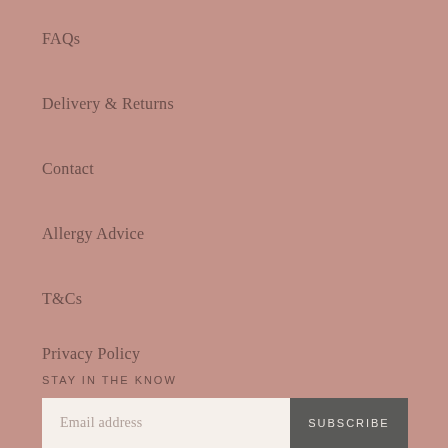FAQs
Delivery & Returns
Contact
Allergy Advice
T&Cs
Privacy Policy
STAY IN THE KNOW
Email address
SUBSCRIBE